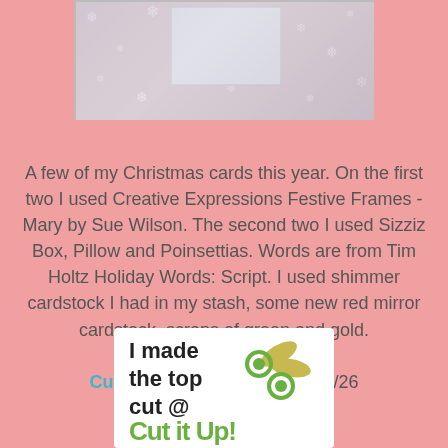[Figure (photo): Photo of Christmas cards with snowflake patterned background and a white rectangular card visible at top]
A few of my Christmas cards this year.  On the first two I used Creative Expressions Festive Frames - Mary by Sue Wilson.  The second two I used Sizziz Box, Pillow and Poinsettias.  Words are from Tim Holtz Holiday Words: Script. I used shimmer cardstock I had in my stash, some new red mirror cardstock, scraps of green and gold. A few fun challenges: Cut it Up #189: Christmas 12/26
[Figure (logo): Badge reading 'I made the top cut @ Cut It Up!' with scissors graphic]